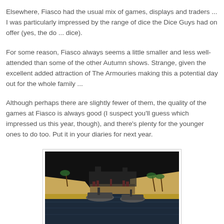Elsewhere, Fiasco had the usual mix of games, displays and traders ... I was particularly impressed by the range of dice the Dice Guys had on offer (yes, the do ... dice).
For some reason, Fiasco always seems a little smaller and less well-attended than some of the other Autumn shows. Strange, given the excellent added attraction of The Armouries making this a potential day out for the whole family ...
Although perhaps there are slightly fewer of them, the quality of the games at Fiasco is always good (I suspect you'll guess which impressed us this year, though), and there's plenty for the younger ones to do too. Put it in your diaries for next year.
[Figure (photo): A miniature wargame diorama showing a harbor scene with ships/boats on dark water, sandy terrain, red-colored structures and figures on a dark background.]